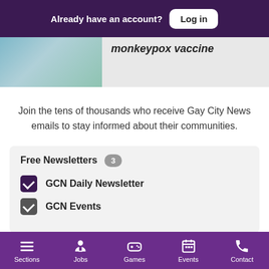Already have an account? Log in
monkeypox vaccine
Close
Ninth Circuit panel orders
Join the tens of thousands who receive Gay City News emails to stay informed about their communities.
Free Newsletters 3
GCN Daily Newsletter
GCN Events
Sections  Jobs  Games  Events  Contact